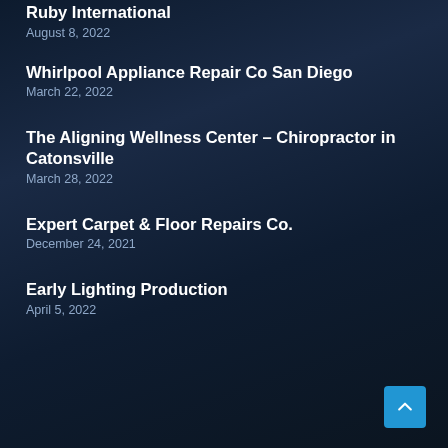Ruby International
August 8, 2022
Whirlpool Appliance Repair Co San Diego
March 22, 2022
The Aligning Wellness Center – Chiropractor in Catonsville
March 28, 2022
Expert Carpet & Floor Repairs Co.
December 24, 2021
Early Lighting Production
April 5, 2022